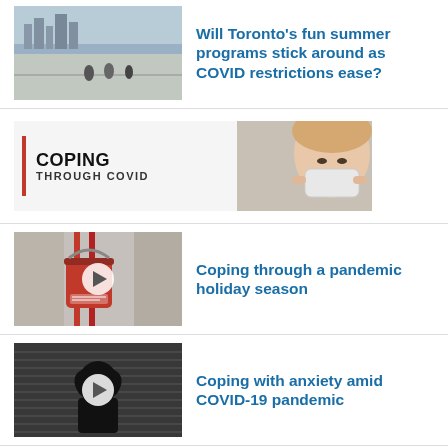[Figure (photo): People cycling on a wide promenade with city skyline in background]
Will Toronto's fun summer programs stick around as COVID restrictions ease?
[Figure (infographic): Coping Through COVID banner with woman putting on face mask]
[Figure (photo): Red Salvation Army donation bucket on a red stand, video thumbnail with play button]
Coping through a pandemic holiday season
[Figure (photo): Silhouette of person in distress, black and white, video thumbnail with play button]
Coping with anxiety amid COVID-19 pandemic
[Figure (photo): Partial thumbnail, warm tones]
How to know if